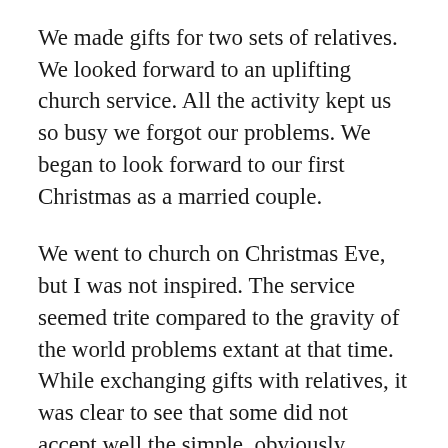We made gifts for two sets of relatives. We looked forward to an uplifting church service. All the activity kept us so busy we forgot our problems. We began to look forward to our first Christmas as a married couple.
We went to church on Christmas Eve, but I was not inspired. The service seemed trite compared to the gravity of the world problems extant at that time. While exchanging gifts with relatives, it was clear to see that some did not accept well the simple, obviously inexpensive gifts we felt truly expressed our love for them. A few turned up their noses at the fruitcakes my wife had